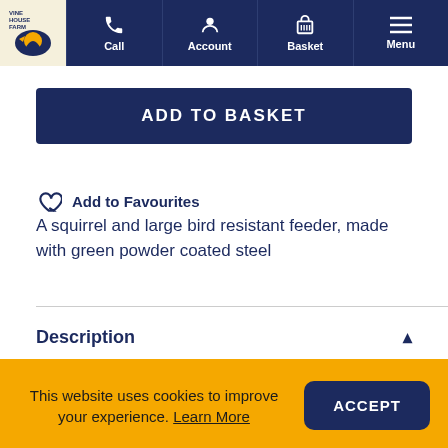Vine House Farm — Call | Account | Basket | Menu
ADD TO BASKET
Add to Favourites
A squirrel and large bird resistant feeder, made with green powder coated steel
Description
This website uses cookies to improve your experience. Learn More